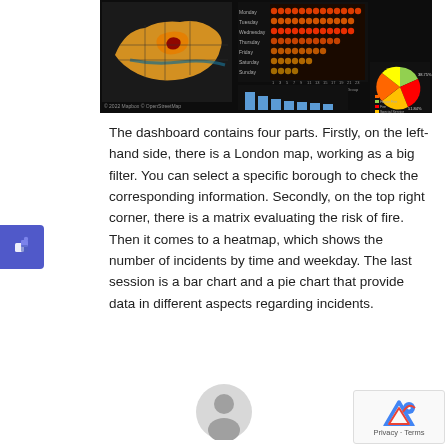[Figure (screenshot): Dashboard screenshot showing a London map (choropleth), a heatmap of incidents by time and weekday, a bar chart, and a pie chart on a dark background.]
The dashboard contains four parts. Firstly, on the left-hand side, there is a London map, working as a big filter. You can select a specific borough to check the corresponding information. Secondly, on the top right corner, there is a matrix evaluating the risk of fire. Then it comes to a heatmap, which shows the number of incidents by time and weekday. The last session is a bar chart and a pie chart that provide data in different aspects regarding incidents.
[Figure (other): User avatar icon (circular silhouette placeholder)]
[Figure (other): reCAPTCHA widget showing Privacy - Terms]